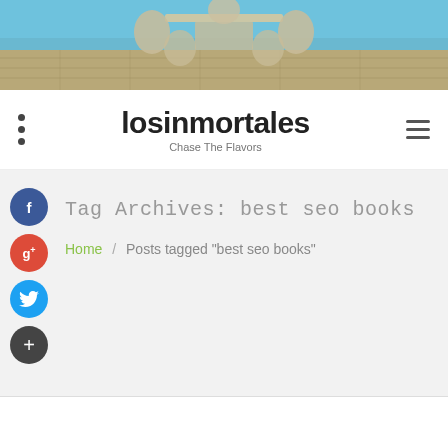[Figure (photo): Outdoor patio with wicker dining furniture around a table, next to a swimming pool, stone tile flooring]
losinmortales
Chase The Flavors
Tag Archives: best seo books
Home / Posts tagged "best seo books"